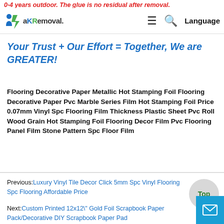0-4 years outdoor. The glue is no residual after removal.
aR-emoval. Language
Your Trust + Our Effort = Together, We are GREATER!
Flooring Decorative Paper Metallic Hot Stamping Foil Flooring Decorative Paper Pvc Marble Series Film Hot Stamping Foil Price 0.07mm Vinyl Spc Flooring Film Thickness Plastic Sheet Pvc Roll Wood Grain Hot Stamping Foil Flooring Decor Film Pvc Flooring Panel Film Stone Pattern Spc Floor Film
Previous:Luxury Vinyl Tile Decor Click 5mm Spc Vinyl Flooring Spc Flooring Affordable Price
Next:Custom Printed 12x12\" Gold Foil Scrapbook Paper Pack/Decorative DIY Scrapbook Paper Pad